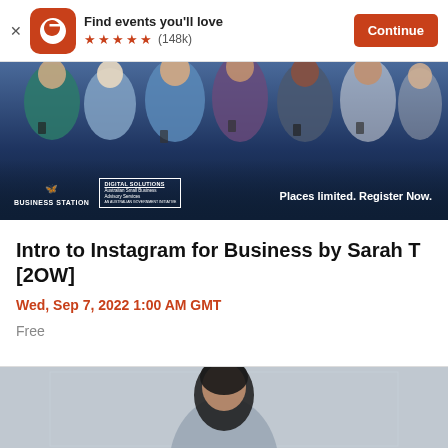Find events you'll love ★★★★★ (148k) Continue
[Figure (photo): Hero banner image showing a group of diverse people looking at smartphones, with Business Station and Digital Solutions Australian Small Business Advisory Services logos in the lower left, and text 'Places limited. Register Now.' on the right. Dark navy blue background.]
Intro to Instagram for Business by Sarah T [2OW]
Wed, Sep 7, 2022 1:00 AM GMT
Free
[Figure (photo): Partial photo visible at bottom of page showing a person with dark hair, appears to be a presenter or speaker photo, partially cropped.]